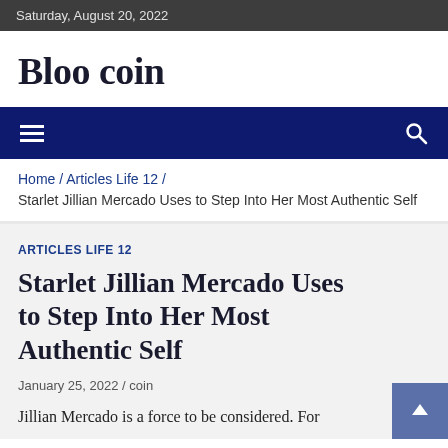Saturday, August 20, 2022
Bloo coin
[Figure (other): Navigation bar with hamburger menu icon and search icon on dark navy blue background]
Home / Articles Life 12 / Starlet Jillian Mercado Uses to Step Into Her Most Authentic Self
ARTICLES LIFE 12
Starlet Jillian Mercado Uses to Step Into Her Most Authentic Self
January 25, 2022 / coin
Jillian Mercado is a force to be considered. For